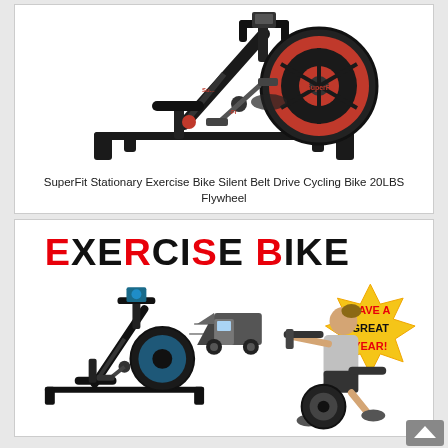[Figure (photo): SuperFit stationary exercise bike in black and red with 20LBS flywheel on a white background]
SuperFit Stationary Exercise Bike Silent Belt Drive Cycling Bike 20LBS Flywheel
[Figure (photo): Exercise Bike product listing image showing a black exercise bike on the left, a woman riding a spinning bike on the right, a delivery truck icon in the center, and a 'Have A Great Year!' badge in the upper right, with bold text 'EXERCISE BIKE' at the top]